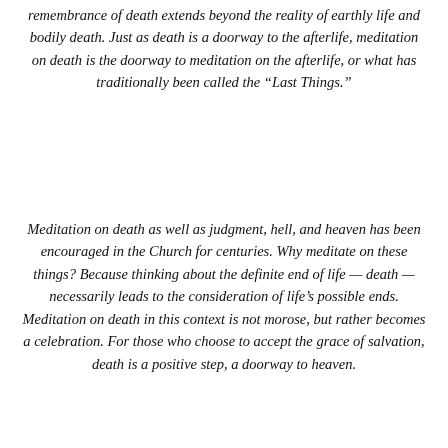remembrance of death extends beyond the reality of earthly life and bodily death. Just as death is a doorway to the afterlife, meditation on death is the doorway to meditation on the afterlife, or what has traditionally been called the “Last Things.”
Meditation on death as well as judgment, hell, and heaven has been encouraged in the Church for centuries. Why meditate on these things? Because thinking about the definite end of life — death — necessarily leads to the consideration of life’s possible ends. Meditation on death in this context is not morose, but rather becomes a celebration. For those who choose to accept the grace of salvation, death is a positive step, a doorway to heaven.